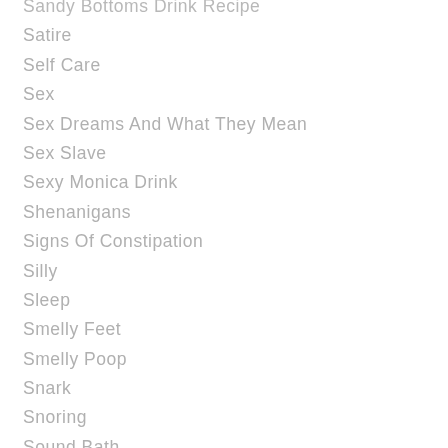Sandy Bottoms Drink Recipe
Satire
Self Care
Sex
Sex Dreams And What They Mean
Sex Slave
Sexy Monica Drink
Shenanigans
Signs Of Constipation
Silly
Sleep
Smelly Feet
Smelly Poop
Snark
Snoring
Sound Bath
Spooky
Spring Cleaning
Stalker